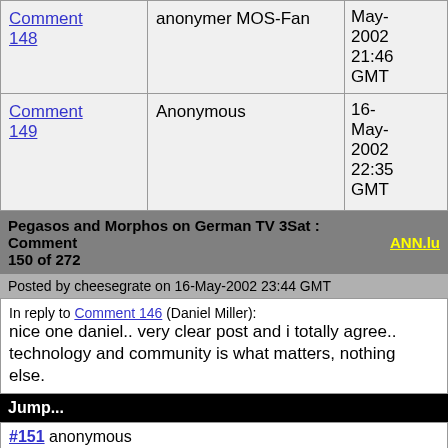| Comment | Author | Date |
| --- | --- | --- |
| Comment 148 | anonymer MOS-Fan | May-2002 21:46 GMT |
| Comment 149 | Anonymous | 16-May-2002 22:35 GMT |
Pegasos and Morphos on German TV 3Sat : Comment 150 of 272
Posted by cheesegrate on 16-May-2002 23:44 GMT
In reply to Comment 146 (Daniel Miller): nice one daniel.. very clear post and i totally agree.. technology and community is what matters, nothing else.
Jump...
#151 anonymous
| Top | Previous comment | Next comment | bottom |
| --- | --- | --- | --- |
List of all comments to this article (continued)
| Comment | Author | Date |
| --- | --- | --- |
| Comment 151 | anonymous | 17-May-2002 00:06 GMT |